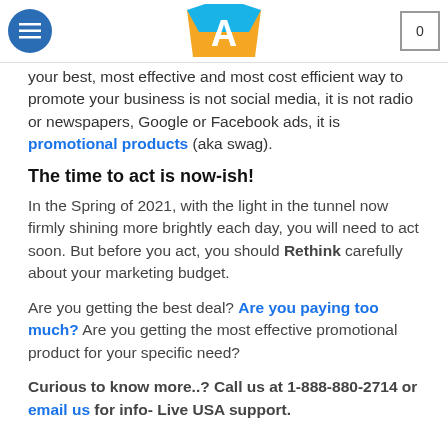[navigation bar with menu button, logo A, and cart]
your best, most effective and most cost efficient way to promote your business is not social media, it is not radio or newspapers, Google or Facebook ads, it is promotional products (aka swag).
The time to act is now-ish!
In the Spring of 2021, with the light in the tunnel now firmly shining more brightly each day, you will need to act soon. But before you act, you should Rethink carefully about your marketing budget.
Are you getting the best deal? Are you paying too much? Are you getting the most effective promotional product for your specific need?
Curious to know more..? Call us at 1-888-880-2714 or email us for info- Live USA support.